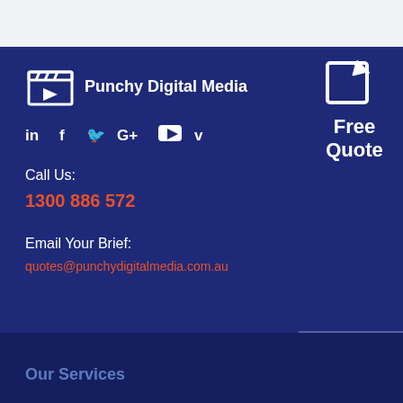[Figure (logo): Punchy Digital Media logo with icon and text]
[Figure (infographic): Social media icons: LinkedIn, Facebook, Twitter, Google+, YouTube, Vimeo]
Call Us:
1300 886 572
Email Your Brief:
quotes@punchydigitalmedia.com.au
[Figure (infographic): Free Quote button with edit icon]
Our Services